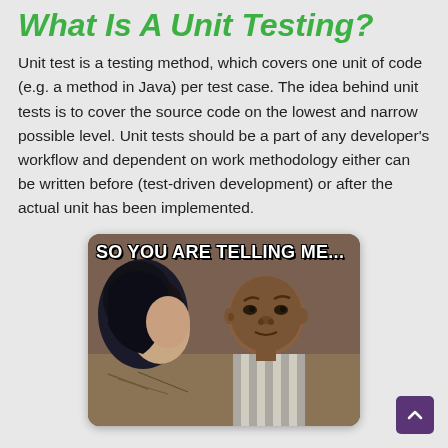What Is A Unit Testing?
Unit test is a testing method, which covers one unit of code (e.g. a method in Java) per test case. The idea behind unit tests is to cover the source code on the lowest and narrow possible level. Unit tests should be a part of any developer's workflow and dependent on work methodology either can be written before (test-driven development) or after the actual unit has been implemented.
[Figure (photo): Meme image showing two people - a woman with dark hair and a skeptical-looking young boy in a striped shirt. Text overlay reads 'SO YOU ARE TELLING ME...']